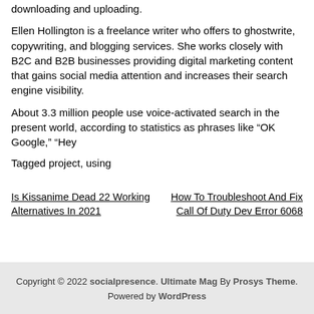downloading and uploading.
Ellen Hollington is a freelance writer who offers to ghostwrite, copywriting, and blogging services. She works closely with B2C and B2B businesses providing digital marketing content that gains social media attention and increases their search engine visibility.
About 3.3 million people use voice-activated search in the present world, according to statistics as phrases like “OK Google,” “Hey
Tagged project, using
Is Kissanime Dead 22 Working Alternatives In 2021
How To Troubleshoot And Fix Call Of Duty Dev Error 6068
Copyright © 2022 socialpresence. Ultimate Mag By Prosys Theme. Powered by WordPress